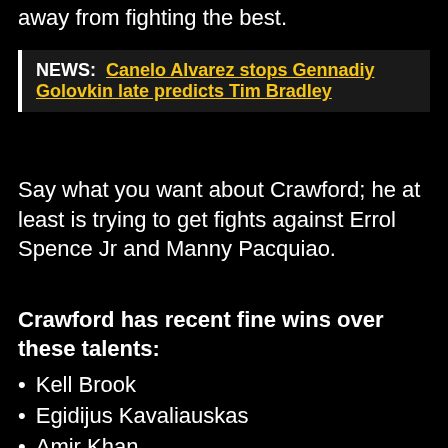away from fighting the best.
NEWS: Canelo Alvarez stops Gennadiy Golovkin late predicts Tim Bradley
Say what you want about Crawford; he at least is trying to get fights against Errol Spence Jr and Manny Pacquiao.
Crawford has recent fine wins over these talents:
Kell Brook
Egidijus Kavaliauskas
Amir Khan